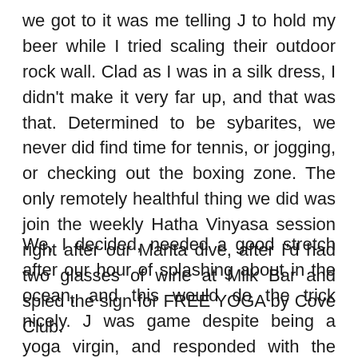we got to it was me telling J to hold my beer while I tried scaling their outdoor rock wall. Clad as I was in a silk dress, I didn't make it very far up, and that was that. Determined to be sybarites, we never did find time for tennis, or jogging, or checking out the boxing zone. The only remotely healthful thing we did was join the weekly Hatha Vinyasa session right after our Manta dive, after I'd had two glasses of wine at Milk Bar and spied the sign for FREE YOGA by Cove Club.
We, I decided, needed a good stretch after our hour of splashing about in the ocean, and this would do the trick nicely. J was game despite being a yoga virgin, and responded with the magic words ("Whatever you want babe"). The both of us eventually found our way to the Movement Pavilion, and Shinto the resident yogi. No other participants showed, so Shinto wound